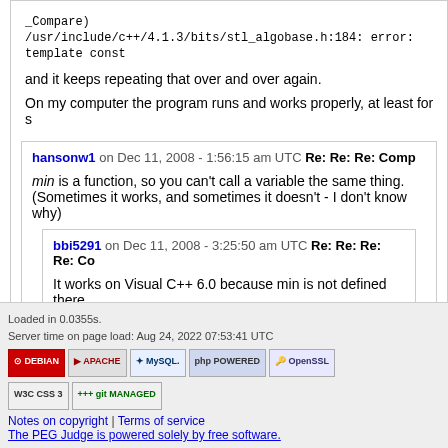_Compare)
/usr/include/c++/4.1.3/bits/stl_algobase.h:184: error: template const
and it keeps repeating that over and over again.
On my computer the program runs and works properly, at least for s
hansonw1 on Dec 11, 2008 - 1:56:15 am UTC  Re: Re: Re: Comp
min is a function, so you can't call a variable the same thing. (Sometimes it works, and sometimes it doesn't - I don't know why)
bbi5291 on Dec 11, 2008 - 3:25:50 am UTC  Re: Re: Re: Re: Co
It works on Visual C++ 6.0 because min is not defined there.
Loaded in 0.0355s.
Server time on page load: Aug 24, 2022 07:53:41 UTC
Notes on copyright | Terms of service
The PEG Judge is powered solely by free software.